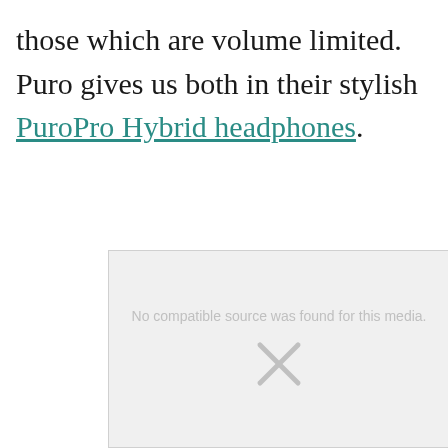those which are volume limited. Puro gives us both in their stylish PuroPro Hybrid headphones.
[Figure (other): Embedded media placeholder showing 'No compatible source was found for this media.' with an X icon indicating a broken or unavailable video/media element.]